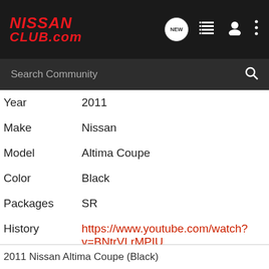NISSAN CLUB.com
Search Community
| Year | 2011 |
| Make | Nissan |
| Model | Altima Coupe |
| Color | Black |
| Packages | SR |
| History | https://www.youtube.com/watch?v=BNtrVLrMPIU

www.sr35project.com |
2011 Nissan Altima Coupe (Black)